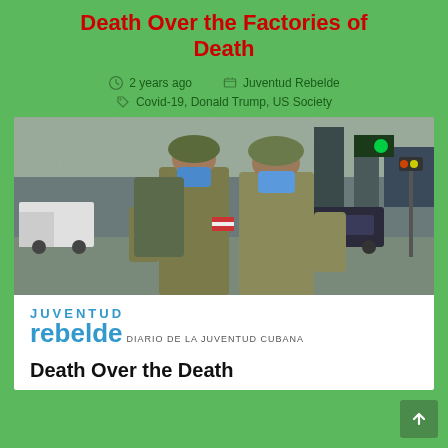Death Over the Factories of Death
2 years ago   Juventud Rebelde
Covid-19, Donald Trump, US Society
[Figure (photo): Two soldiers in camouflage uniforms and blue face masks walking on a wet city street with vehicles and traffic lights in the background]
[Figure (logo): Juventud Rebelde - Diario de la Juventud Cubana logo]
Death Over the Death